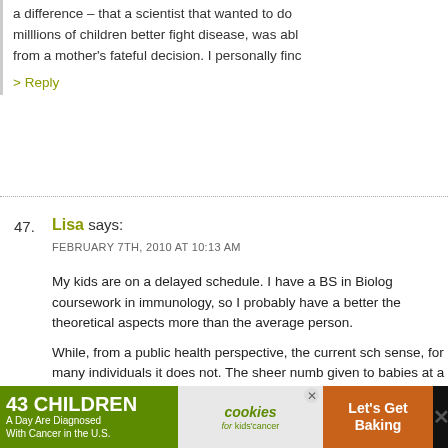a difference – that a scientist that wanted to do milllions of children better fight disease, was abl from a mother's fateful decision. I personally finc
> Reply
47. Lisa says: FEBRUARY 7TH, 2010 AT 10:13 AM
My kids are on a delayed schedule. I have a BS in Biolog coursework in immunology, so I probably have a better the theoretical aspects more than the average person.
While, from a public health perspective, the current sch sense, for many individuals it does not. The sheer numb given to babies at a single appointment is disturbing, ar of these contain preservatives, including aluminum, ma having them administered more than one at a time. No your child should have a reaction, it makes it that much
Autism was never a concern for my family, as there is nc indicate we have a genetic predisposition.
[Figure (infographic): Ad banner: '43 CHILDREN A Day Are Diagnosed With Cancer in the U.S.' with cookies for kids' cancer logo and 'Let's Get Baking' call to action]